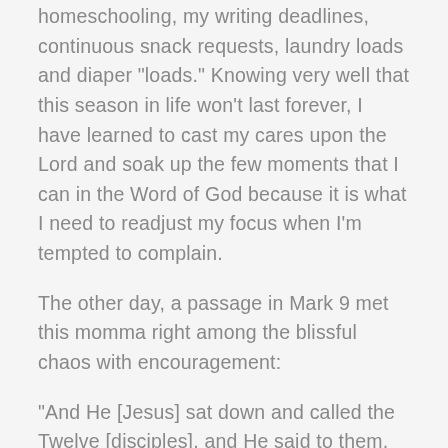homeschooling, my writing deadlines, continuous snack requests, laundry loads and diaper "loads." Knowing very well that this season in life won't last forever, I have learned to cast my cares upon the Lord and soak up the few moments that I can in the Word of God because it is what I need to readjust my focus when I'm tempted to complain.
The other day, a passage in Mark 9 met this momma right among the blissful chaos with encouragement:
"And He [Jesus] sat down and called the Twelve [disciples], and He said to them, "If anyone desires to be first, he must be last of all, and servant of all." 36 And He took a little child and